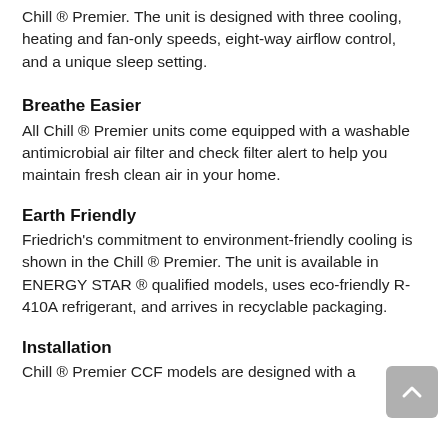Chill ® Premier. The unit is designed with three cooling, heating and fan-only speeds, eight-way airflow control, and a unique sleep setting.
Breathe Easier
All Chill ® Premier units come equipped with a washable antimicrobial air filter and check filter alert to help you maintain fresh clean air in your home.
Earth Friendly
Friedrich's commitment to environment-friendly cooling is shown in the Chill ® Premier. The unit is available in ENERGY STAR ® qualified models, uses eco-friendly R-410A refrigerant, and arrives in recyclable packaging.
Installation
Chill ® Premier CCF models are designed with a